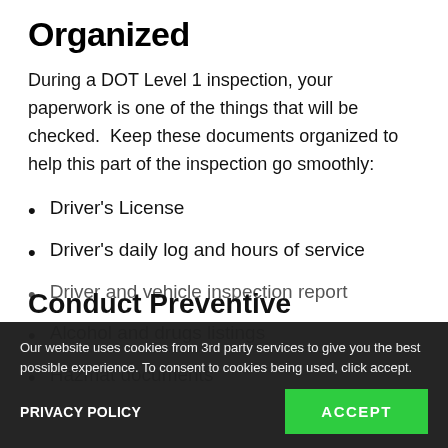Organized
During a DOT Level 1 inspection, your paperwork is one of the things that will be checked.  Keep these documents organized to help this part of the inspection go smoothly:
Driver's License
Driver's daily log and hours of service
Driver and vehicle inspection report
Alcohol and drugs listings
Hazmat documents
Our website uses cookies from 3rd party services to give you the best possible experience. To consent to cookies being used, click accept.
PRIVACY POLICY
ACCEPT
Conduct Preventive